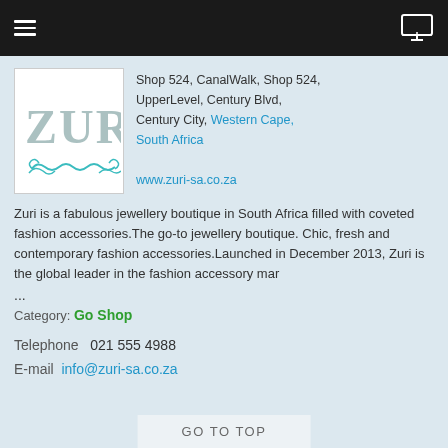Navigation bar with hamburger menu and monitor icon
[Figure (logo): Zuri jewellery boutique logo with teal decorative text ZUR and ornamental swirl]
Shop 524, CanalWalk, Shop 524, UpperLevel, Century Blvd, Century City, Western Cape, South Africa
www.zuri-sa.co.za
Zuri is a fabulous jewellery boutique in South Africa filled with coveted fashion accessories.The go-to jewellery boutique. Chic, fresh and contemporary fashion accessories.Launched in December 2013, Zuri is the global leader in the fashion accessory mar
...
Category: Go Shop
Telephone  021 555 4988
E-mail  info@zuri-sa.co.za
GO TO TOP